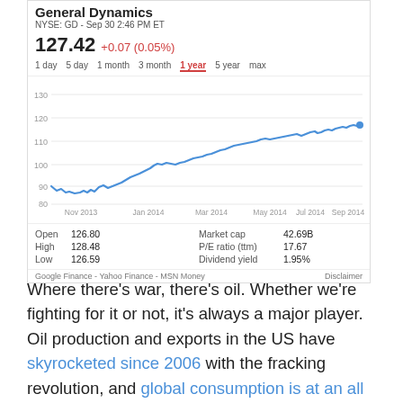General Dynamics
NYSE: GD - Sep 30 2:46 PM ET
127.42 +0.07 (0.05%)
[Figure (continuous-plot): Line chart showing GD stock price from Nov 2013 to Sep 2014, rising from about 88 to 127]
| Metric | Value | Metric | Value |
| --- | --- | --- | --- |
| Open | 126.80 | Market cap | 42.69B |
| High | 128.48 | P/E ratio (ttm) | 17.67 |
| Low | 126.59 | Dividend yield | 1.95% |
Google Finance - Yahoo Finance - MSN Money   Disclaimer
Where there’s war, there’s oil. Whether we’re fighting for it or not, it’s always a major player. Oil production and exports in the US have skyrocketed since 2006 with the fracking revolution, and global consumption is at an all time high and rising. Much of that increase in global oil consumption is demand-driven by developing countries.